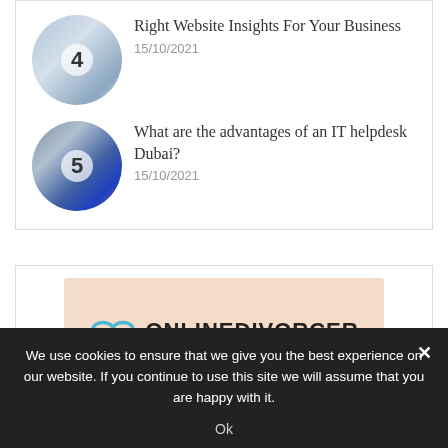[Figure (photo): Circular thumbnail image numbered 4, showing a person writing at a desk]
Right Website Insights For Your Business
15/10/2021
[Figure (photo): Circular thumbnail image numbered 5, showing a laptop with a helpdesk screen]
What are the advantages of an IT helpdesk Dubai?
15/10/2021
[Figure (logo): ONLINEDIVORCER logo with infinity-link icon on a peach/salmon background]
We use cookies to ensure that we give you the best experience on our website. If you continue to use this site we will assume that you are happy with it.
Ok